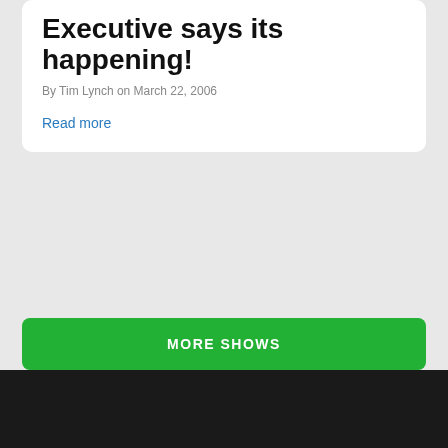Executive says its happening!
By Tim Lynch on March 22, 2006
Read more
MORE SHOWS